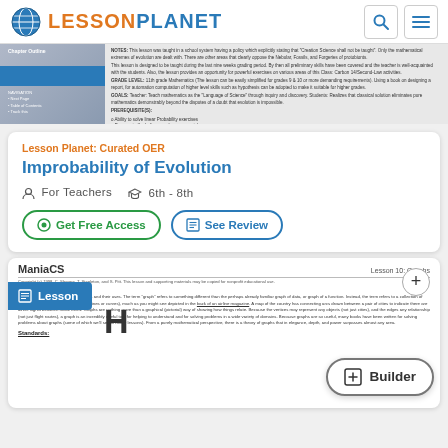Lesson Planet
[Figure (screenshot): Document preview thumbnail showing lesson text content]
Lesson Planet: Curated OER
Improbability of Evolution
For Teachers   6th - 8th
Get Free Access   See Review
[Figure (screenshot): ManiaCS Lesson 10: Graphs document preview with motivation text about graphs]
Lesson
Builder